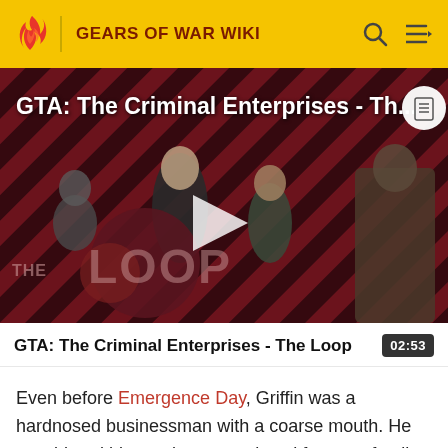GEARS OF WAR WIKI
[Figure (screenshot): Video thumbnail for 'GTA: The Criminal Enterprises - The Loop' showing four game characters on a red diagonal-stripe background with 'THE LOOP' logo overlay and a play button in the center.]
GTA: The Criminal Enterprises - The Loop  02:53
Even before Emergence Day, Griffin was a hardnosed businessman with a coarse mouth. He considered his employees and workforce as family, but led them through